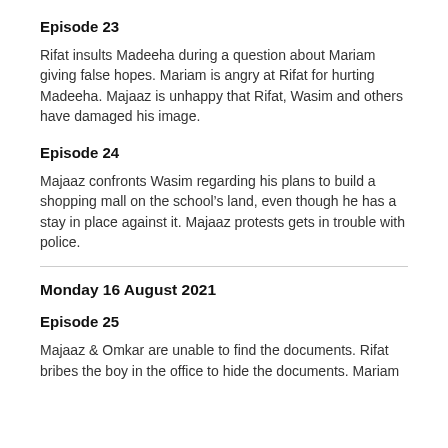Episode 23
Rifat insults Madeeha during a question about Mariam giving false hopes. Mariam is angry at Rifat for hurting Madeeha. Majaaz is unhappy that Rifat, Wasim and others have damaged his image.
Episode 24
Majaaz confronts Wasim regarding his plans to build a shopping mall on the school’s land, even though he has a stay in place against it. Majaaz protests gets in trouble with police.
Monday 16 August 2021
Episode 25
Majaaz & Omkar are unable to find the documents. Rifat bribes the boy in the office to hide the documents. Mariam